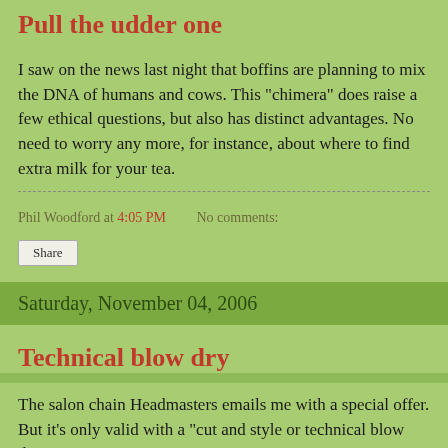Pull the udder one
I saw on the news last night that boffins are planning to mix the DNA of humans and cows. This "chimera" does raise a few ethical questions, but also has distinct advantages. No need to worry any more, for instance, about where to find extra milk for your tea.
Phil Woodford at 4:05 PM   No comments:
Share
Saturday, November 04, 2006
Technical blow dry
The salon chain Headmasters emails me with a special offer. But it's only valid with a "cut and style or technical blow dry".
Exactly how technical can a blow dry get?
If you know, please leave a comment. And tell me if you